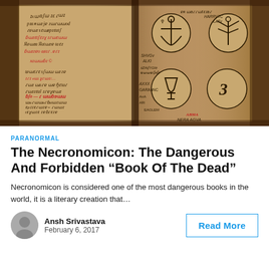[Figure (photo): Open ancient manuscript book showing handwritten text in old script (possibly Slavic/Cyrillic) on left page and circular symbolic diagrams with labels including HARRVTC, LATV, SHVGV, ALKI, ZANVG, GARANN, EAGLEM, NERA AGUA on right page. The book appears aged and worn, with symbols drawn in circles.]
PARANORMAL
The Necronomicon: The Dangerous And Forbidden “Book Of The Dead”
Necronomicon is considered one of the most dangerous books in the world, it is a literary creation that…
Ansh Srivastava
February 6, 2017
Read More